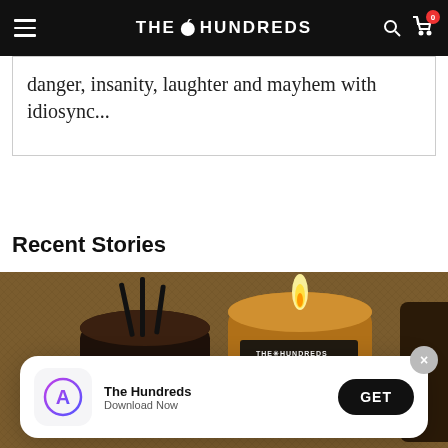THE HUNDREDS
danger, insanity, laughter and mayhem with idiosync...
Recent Stories
[Figure (photo): Two amber glass jar candles, one lit, with The Hundreds branding labels, on a burlap background]
[Figure (infographic): App download banner: Apple App Store icon, 'The Hundreds' app name, 'Download Now' subtitle, GET button, X close button]